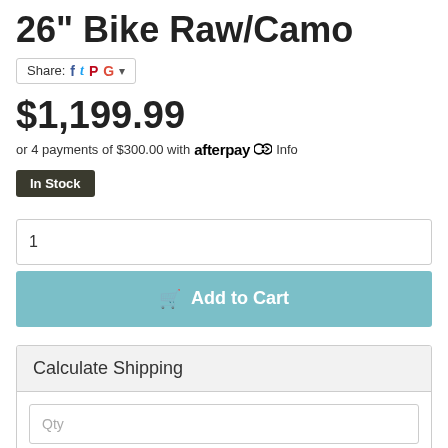26" Bike Raw/Camo
Share:
$1,199.99
or 4 payments of $300.00 with afterpay Info
In Stock
1
Add to Cart
Calculate Shipping
Qty
Australia